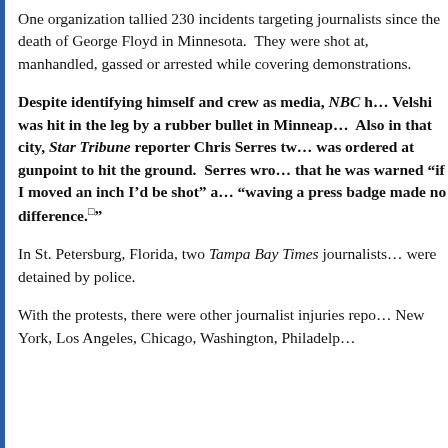One organization tallied 230 incidents targeting journalists since the death of George Floyd in Minnesota. They were shot at, manhandled, gassed or arrested while covering demonstrations.
Despite identifying himself and crew as media, NBC host Ali Velshi was hit in the leg by a rubber bullet in Minneapolis. Also in that city, Star Tribune reporter Chris Serres tweeted he was ordered at gunpoint to hit the ground. Serres wrote that he was warned "if I moved an inch I'd be shot" and "waving a press badge made no difference."
In St. Petersburg, Florida, two Tampa Bay Times journalists were detained by police.
With the protests, there were other journalist injuries reported in New York, Los Angeles, Chicago, Washington, Philadelphia,